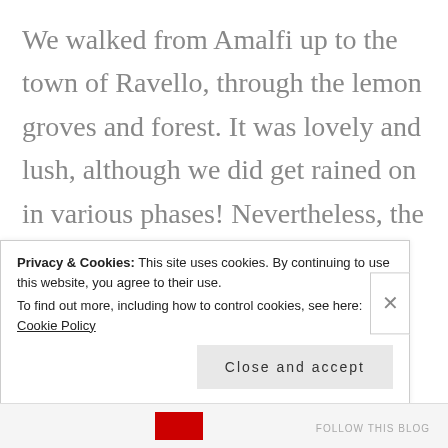We walked from Amalfi up to the town of Ravello, through the lemon groves and forest. It was lovely and lush, although we did get rained on in various phases! Nevertheless, the sun came out when we arrived at the top and we visited the Villa Rufolo. We had been set a photo competition to take the photo on the front of the tourist brochure. It was a mad scurry around the gardens, interspersed with
Privacy & Cookies: This site uses cookies. By continuing to use this website, you agree to their use.
To find out more, including how to control cookies, see here: Cookie Policy
Close and accept